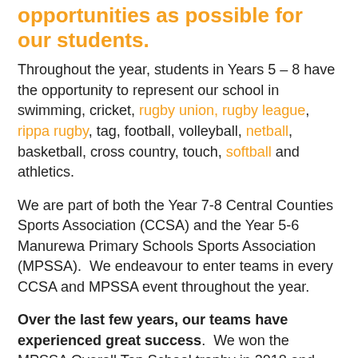opportunities as possible for our students.
Throughout the year, students in Years 5 – 8 have the opportunity to represent our school in swimming, cricket, rugby union, rugby league, rippa rugby, tag, football, volleyball, netball, basketball, cross country, touch, softball and athletics.
We are part of both the Year 7-8 Central Counties Sports Association (CCSA) and the Year 5-6 Manurewa Primary Schools Sports Association (MPSSA).  We endeavour to enter teams in every CCSA and MPSSA event throughout the year.
Over the last few years, our teams have experienced great success.  We won the MPSSA Overall Top School trophy in 2018 and